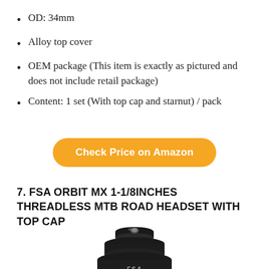OD: 34mm
Alloy top cover
OEM package (This item is exactly as pictured and does not include retail package)
Content: 1 set (With top cap and starnut) / pack
[Figure (other): Orange rounded button/link reading 'Check Price on Amazon']
7. FSA ORBIT MX 1-1/8INCHES THREADLESS MTB ROAD HEADSET WITH TOP CAP
[Figure (photo): Photo of a black FSA Orbit MX headset component, viewed from slightly above, showing the stacked cylindrical design with FSA logo visible]